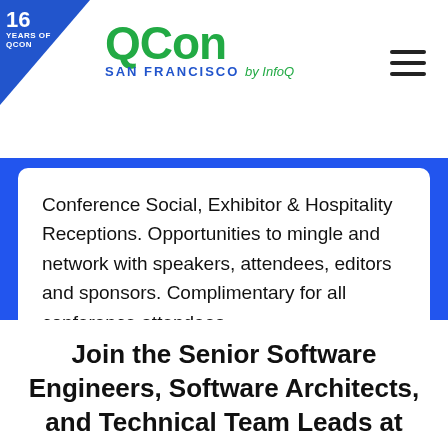[Figure (logo): QCon San Francisco by InfoQ logo with 16 Years of QCon badge in top-left blue triangle and hamburger menu icon on the right]
Conference Social, Exhibitor & Hospitality Receptions. Opportunities to mingle and network with speakers, attendees, editors and sponsors. Complimentary for all conference attendees.
Join the Senior Software Engineers, Software Architects, and Technical Team Leads at